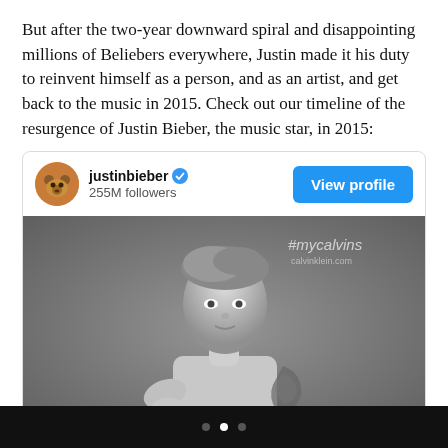But after the two-year downward spiral and disappointing millions of Beliebers everywhere, Justin made it his duty to reinvent himself as a person, and as an artist, and get back to the music in 2015. Check out our timeline of the resurgence of Justin Bieber, the music star, in 2015:
[Figure (screenshot): Instagram profile card for justinbieber (255M followers) with a View Profile button and a black-and-white Calvin Klein photo of Justin Bieber shirtless with tattoos and the watermark #mycalvins / calvinklein.com]